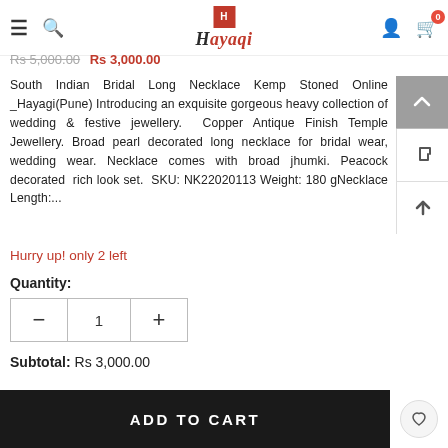Hayaqi
Rs 5,000.00  Rs 3,000.00
South Indian Bridal Long Necklace Kemp Stoned Online _Hayagi(Pune) Introducing an exquisite gorgeous heavy collection of wedding & festive jewellery. Copper Antique Finish Temple Jewellery. Broad pearl decorated long necklace for bridal wear, wedding wear. Necklace comes with broad jhumki. Peacock decorated rich look set. SKU: NK22020113 Weight: 180 gNecklace Length:...
Hurry up! only 2 left
Quantity:
Subtotal: Rs 3,000.00
ADD TO CART